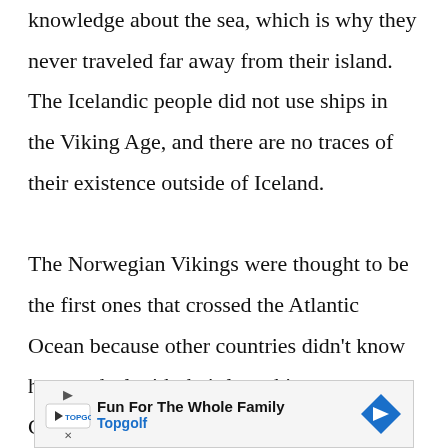knowledge about the sea, which is why they never traveled far away from their island. The Icelandic people did not use ships in the Viking Age, and there are no traces of their existence outside of Iceland.

The Norwegian Vikings were thought to be the first ones that crossed the Atlantic Ocean because other countries didn't know how to deal with their longships. Christopher Columbus was also inspired by the idea that
[Figure (other): Advertisement banner for Topgolf: 'Fun For The Whole Family' with Topgolf logo and navigation arrow icon]